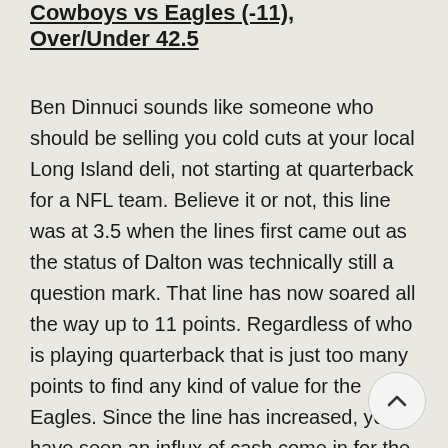Cowboys vs Eagles (-11), Over/Under 42.5
Ben Dinnuci sounds like someone who should be selling you cold cuts at your local Long Island deli, not starting at quarterback for a NFL team. Believe it or not, this line was at 3.5 when the lines first came out as the status of Dalton was technically still a question mark. That line has now soared all the way up to 11 points. Regardless of who is playing quarterback that is just too many points to find any kind of value for the Eagles. Since the line has increased, you have seen an influx of cash come in for the Cowboys. Do I think this game will be close? No not. Am I confident enough in that to